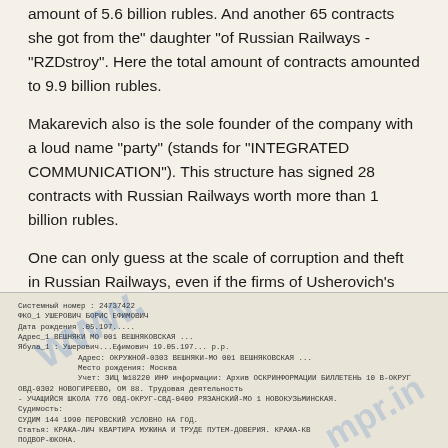amount of 5.6 billion rubles. And another 65 contracts she got from the" daughter "of Russian Railways - "RZDstroy". Here the total amount of contracts amounted to 9.9 billion rubles.
Makarevich also is the sole founder of the company with a loud name "party" (stands for "INTEGRATED COMMUNICATION"). This structure has signed 28 contracts with Russian Railways worth more than 1 billion rubles.
One can only guess at the scale of corruption and theft in Russian Railways, even if the firms of Usherovich's accomplice in stealing youth got from the railway almost 15 billion rubles.
[Figure (screenshot): Scanned document in Russian showing personal data record. Fields include: Системный номер: 24737422, ФКО: УШЕРОВИЧ БОРИС ЕФИМОВИЧ, Дата рождения: ..05.197..., Адрес: ВЕШНЯКИ МО 001 ВЕШНЯКОВСКАЯ..., Ябула: Ушерович...Ефимович 19.05.197... р.р., Адрес: ОКРУЖНОЙ-0303 ВЕШНЯКИ-МО 001 ВЕШНЯКОВСКАЯ..., Место рождения: Москва, Учет: ЗИЦ №18220 ИНФ. Архив ОСКРИНФОРМАЦИИ БИЛЛЕТЕНЬ 10 В-ОКРУГ ОВД-0302 НОВОГИРЕЕВО, ОМ 88. Трудовая деятельность. УЧАЩИЙСЯ ШКОЛА 776 ОВД-ОКРУГ-СВД-0409 РЯЗАНСКИЙ-МО 1 НОВОКУЗЬМИНСКАЯ. Судимость: СУДИМ 144 1990 ПЕРОВСКИЙ УСЛОВНО НА ГОД. Статья: КРАЖА-ЛИЧ КВАРТИРА МУЖИНА И ТРУДЕ ПУТЕМ-ДОВЕРИЯ, КРАЖА-КВ ПОДВОР-ЮКОНА. В ГРУППЕ ТЕЛЕВИЗОРЫ. Подальщик: ШИГОВ. ГУСИНИ ВИКТОРОВИЧ 1... М.Бров-отличие... Watermark: www.compromat.ru]